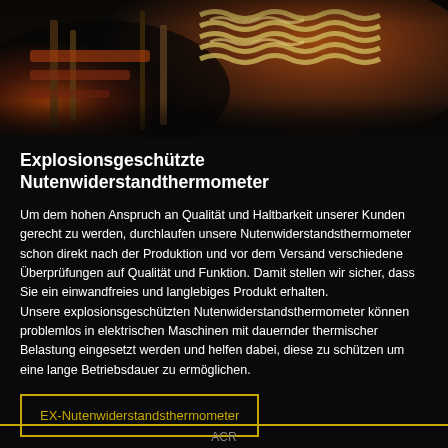[Figure (photo): Close-up photo of industrial machinery components with coils, metal parts, and orange/warm tones against dark background]
Explosionsgeschützte Nutenwiderstandthermometer
Um dem hohen Anspruch an Qualität und Haltbarkeit unserer Kunden gerecht zu werden, durchlaufen unsere Nutenwiderstandsthermometer schon direkt nach der Produktion und vor dem Versand verschiedene Überprüfungen auf Qualität und Funktion. Damit stellen wir sicher, dass Sie ein einwandfreies und langlebiges Produkt erhalten.
Unsere explosionsgeschützten Nutenwiderstandsthermometer können problemlos in elektrischen Maschinen mit dauernder thermischer Belastung eingesetzt werden und helfen dabei, diese zu schützen um eine lange Betriebsdauer zu ermöglichen.
EX-Nutenwiderstandsthermometer
ACR